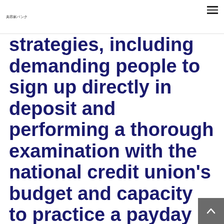美容家バンク
strategies, including demanding people to sign up directly in deposit and performing a thorough examination with the national credit union's budget and capacity to practice a payday alternate mortgage system
（７）The federal credit score rating union cannot examine a fee or fee, like a non-sufficient resources charge, regarding the debtor's membership pursuant to the